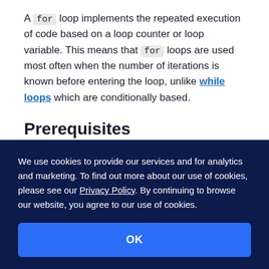A for loop implements the repeated execution of code based on a loop counter or loop variable. This means that for loops are used most often when the number of iterations is known before entering the loop, unlike while loops which are conditionally based.
Prerequisites
You should have Python 3 installed and a
We use cookies to provide our services and for analytics and marketing. To find out more about our use of cookies, please see our Privacy Policy. By continuing to browse our website, you agree to our use of cookies.
OK